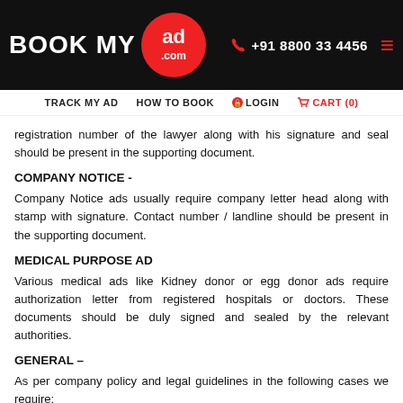BOOK MY ad.com | +91 8800 33 4456
TRACK MY AD | HOW TO BOOK | LOGIN | CART (0)
registration number of the lawyer along with his signature and seal should be present in the supporting document.
COMPANY NOTICE -
Company Notice ads usually require company letter head along with stamp with signature. Contact number / landline should be present in the supporting document.
MEDICAL PURPOSE AD
Various medical ads like Kidney donor or egg donor ads require authorization letter from registered hospitals or doctors. These documents should be duly signed and sealed by the relevant authorities.
GENERAL –
As per company policy and legal guidelines in the following cases we require:
Ad Content should mention complete phone number (both verified by supporting documents)